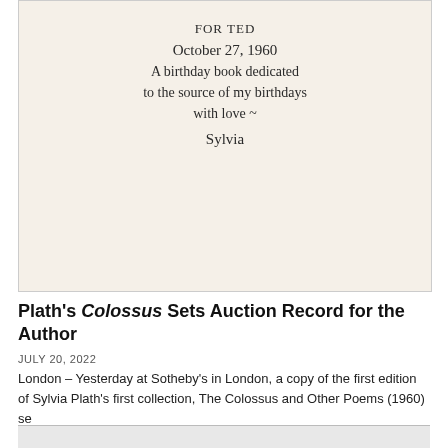[Figure (photo): A photograph of a handwritten inscription on a cream/off-white page. The handwriting reads: 'FOR TED / October 27, 1960 / A birthday book dedicated / to the source of my birthdays / with love ~ / Sylvia']
Plath's Colossus Sets Auction Record for the Author
JULY 20, 2022
London – Yesterday at Sotheby's in London, a copy of the first edition of Sylvia Plath's first collection, The Colossus and Other Poems (1960) se